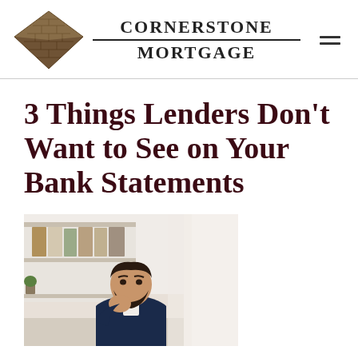[Figure (logo): Cornerstone Mortgage logo: a diamond-shaped brick/stone icon on the left, with the text CORNERSTONE MORTGAGE in bold serif font to the right, separated by a horizontal line. A hamburger menu icon is in the top right corner.]
3 Things Lenders Don't Want to See on Your Bank Statements
[Figure (photo): A stressed or worried man in a navy suit sitting at a desk, resting his chin on his fist with a troubled expression. Office shelving with binders visible in the background.]